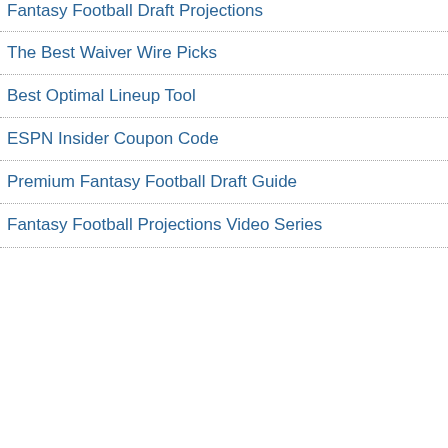Fantasy Football Draft Projections
The Best Waiver Wire Picks
Best Optimal Lineup Tool
ESPN Insider Coupon Code
Premium Fantasy Football Draft Guide
Fantasy Football Projections Video Series